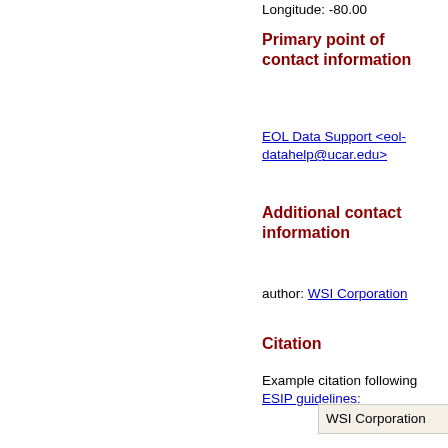Longitude: -80.00
Primary point of contact information
EOL Data Support <eol-datahelp@ucar.edu>
Additional contact information
author: WSI Corporation
Citation
Example citation following ESIP guidelines:
WSI Corporation